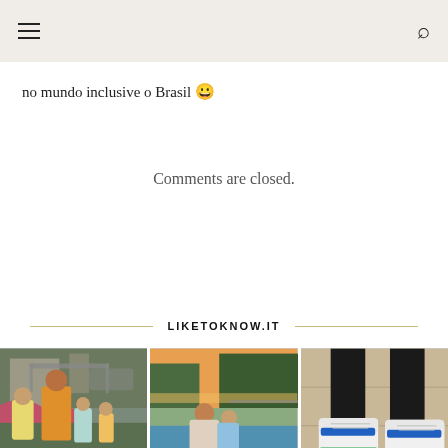[hamburger menu] [search icon]
no mundo inclusive o Brasil 😀
Comments are closed.
LIKETOKNOW.IT
[Figure (photo): Three photos in a grid: left - woman with three children outdoors near a pergola with pink flowers; center - woman sitting by a pool holding a baby at sunset; right - close-up of white sneakers with blue and green accents on a tile surface.]